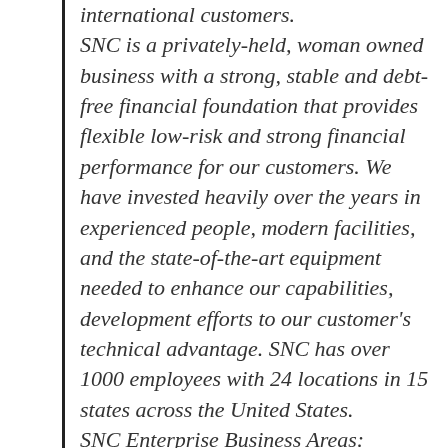international customers. SNC is a privately-held, woman owned business with a strong, stable and debt-free financial foundation that provides flexible low-risk and strong financial performance for our customers. We have invested heavily over the years in experienced people, modern facilities, and the state-of-the-art equipment needed to enhance our capabilities, development efforts to our customer's technical advantage. SNC has over 1000 employees with 24 locations in 15 states across the United States.
SNC Enterprise Business Areas:
ISR – Intelligence, Surveillance and